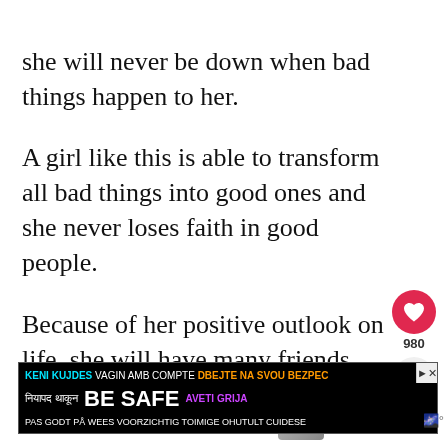she will never be down when bad things happen to her.
A girl like this is able to transform all bad things into good ones and she never loses faith in good people.
Because of her positive outlook on life, she will have many friends and people will find her friendly.
[Figure (infographic): Social media interaction buttons: red heart/like button with count 980, and a share button]
[Figure (infographic): What's Next widget with thumbnail image and text: 'If You Can't Do These 6...']
[Figure (infographic): Advertisement banner with multilingual safety text: BE SAFE, KENI KUJDES, VAGIN AMB COMPTE, DBEJTE NA SVOU BEZPEC, नियापद थाकून, AVETI GRIJA, PAS GODT PÅ, WEES VOORZICHTIG, TOIMIGE OHUTULT, CUIDESE]